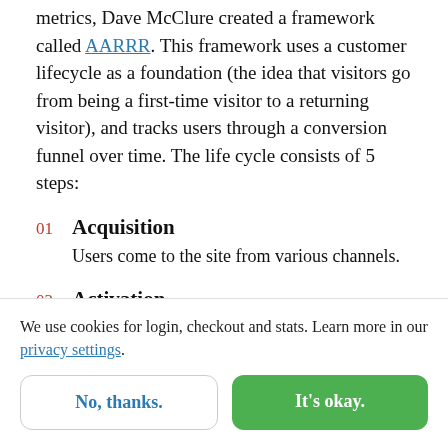metrics, Dave McClure created a framework called AARRR. This framework uses a customer lifecycle as a foundation (the idea that visitors go from being a first-time visitor to a returning visitor), and tracks users through a conversion funnel over time. The life cycle consists of 5 steps:
01 Acquisition — Users come to the site from various channels.
02 Activation
We use cookies for login, checkout and stats. Learn more in our privacy settings.